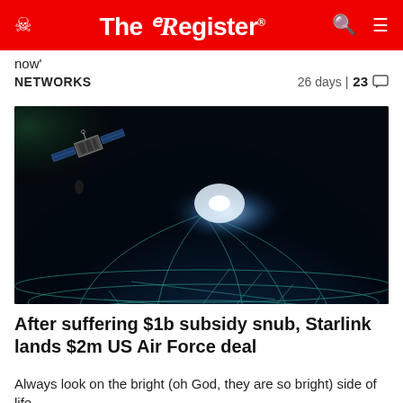The Register
now'
NETWORKS	26 days | 23
[Figure (photo): Digital illustration of Earth from space with glowing network connections grid overlaying globe surface, and a satellite visible in upper left against dark space background with green nebula-like cloud]
After suffering $1b subsidy snub, Starlink lands $2m US Air Force deal
Always look on the bright (oh God, they are so bright) side of life